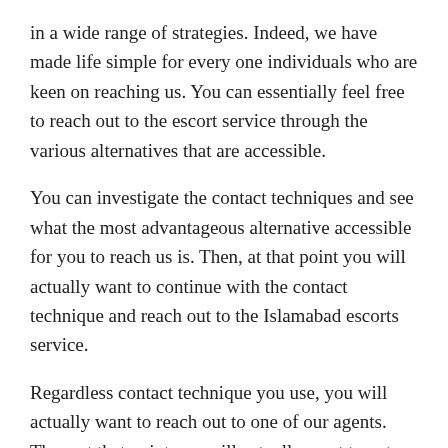in a wide range of strategies. Indeed, we have made life simple for every one individuals who are keen on reaching us. You can essentially feel free to reach out to the escort service through the various alternatives that are accessible.
You can investigate the contact techniques and see what the most advantageous alternative accessible for you to reach us is. Then, at that point you will actually want to continue with the contact technique and reach out to the Islamabad escorts service.
Regardless contact technique you use, you will actually want to reach out to one of our agents. Then, at that point you will actually want to get the help and help that you need to meet the escort. In different words, you will actually want to affirm the arrangement to meet the escort and push ahead with it.
Our escorts are quick to meet you too. We will actually want to